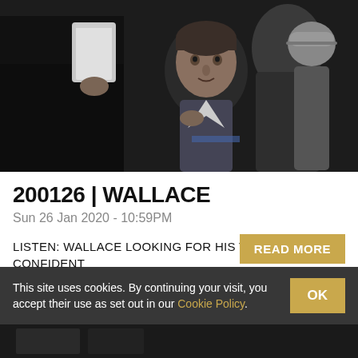[Figure (photo): A man in a dark suit adjusting his tie or collar in a crowd setting, with another person's hand visible in the foreground holding a paper. Dark, moody lighting with blurred background figures.]
200126 | WALLACE
Sun 26 Jan 2020 - 10:59PM
LISTEN: WALLACE LOOKING FOR HIS TEAM TO STAY CONFIDENT
READ MORE
This site uses cookies. By continuing your visit, you accept their use as set out in our Cookie Policy.
OK